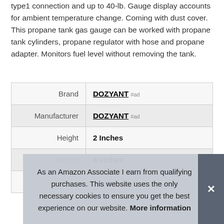type1 connection and up to 40-lb. Gauge display accounts for ambient temperature change. Coming with dust cover. This propane tank gas gauge can be worked with propane tank cylinders, propane regulator with hose and propane adapter. Monitors fuel level without removing the tank.
|  |  |
| --- | --- |
| Brand | DOZYANT #ad |
| Manufacturer | DOZYANT #ad |
| Height | 2 Inches |
| Length | 4 Inches |
|  |  |
As an Amazon Associate I earn from qualifying purchases. This website uses the only necessary cookies to ensure you get the best experience on our website. More information